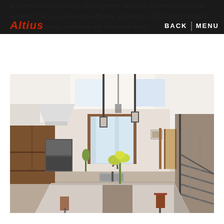Altius | BACK | MENU
and enhance comfort to minimize the demand on the mechanical system. The use of energy-efficient appliances, LED and compact fluorescent lamps minimize the electrical loads.
[Figure (photo): Interior photograph of a modern kitchen with wood cabinetry, marble island, pendant lights, and open staircase visible on the right side.]